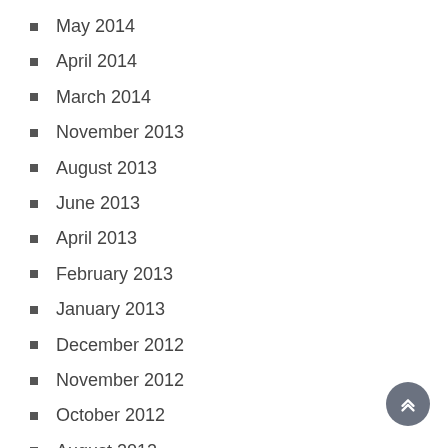May 2014
April 2014
March 2014
November 2013
August 2013
June 2013
April 2013
February 2013
January 2013
December 2012
November 2012
October 2012
August 2012
July 2012
June 2012